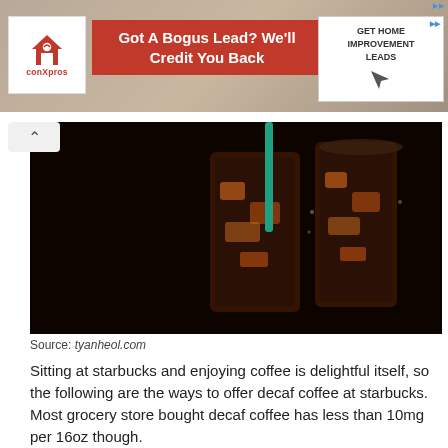[Figure (infographic): ConXpros advertisement banner: red background with text 'Got A Bogus Lead? We'll Credit You Back' and a 'GET HOME IMPROVEMENT LEADS' call-to-action button with cursor icon]
[Figure (photo): Two tall iced coffee drinks in glasses with a teal/green straw, against a dark black background]
Source: tyanheol.com
Sitting at starbucks and enjoying coffee is delightful itself, so the following are the ways to offer decaf coffee at starbucks. Most grocery store bought decaf coffee has less than 10mg per 16oz though.
[Figure (photo): Iced coffee drink with a teal straw in a clear cup, on a knitted fabric background]